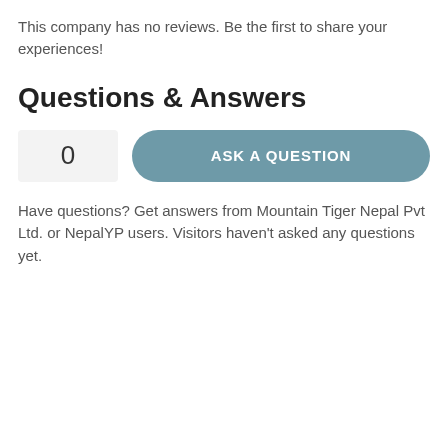This company has no reviews. Be the first to share your experiences!
Questions & Answers
0  ASK A QUESTION
Have questions? Get answers from Mountain Tiger Nepal Pvt Ltd. or NepalYP users. Visitors haven't asked any questions yet.